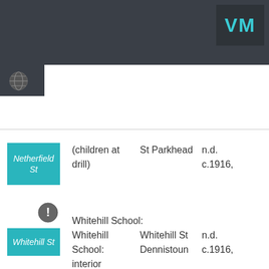VM
[Figure (other): Globe icon in navigation bar]
| Location | Description | Place | Date |
| --- | --- | --- | --- |
| Netherfield St | (children at drill) | St Parkhead | n.d. c.1916, |
| Whitehill St | Whitehill School: interior | Whitehill St Dennistoun | n.d. c.1916, |
[Figure (other): Info/warning circle icon]
Whitehill School: interior